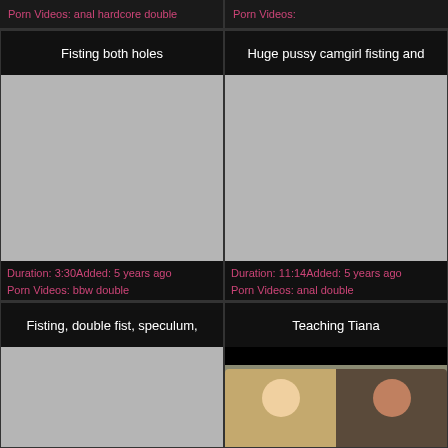Porn Videos: anal hardcore double
Porn Videos:
Fisting both holes
[Figure (photo): Gray placeholder thumbnail for video]
Duration: 3:30Added: 5 years ago Porn Videos: bbw double
Huge pussy camgirl fisting and
[Figure (photo): Gray placeholder thumbnail for video]
Duration: 11:14Added: 5 years ago Porn Videos: anal double
Fisting, double fist, speculum,
[Figure (photo): Gray placeholder thumbnail for video]
Teaching Tiana
[Figure (photo): Photo thumbnail showing two women sitting on a blue couch, one blonde and one brunette]